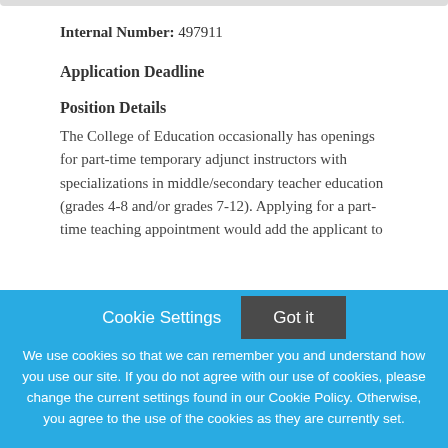Internal Number: 497911
Application Deadline
Position Details
The College of Education occasionally has openings for part-time temporary adjunct instructors with specializations in middle/secondary teacher education (grades 4-8 and/or grades 7-12). Applying for a part-time teaching appointment would add the applicant to
Cookie Settings    Got it
We use cookies so that we can remember you and understand how you use our site. If you do not agree with our use of cookies, please change the current settings found in our Cookie Policy. Otherwise, you agree to the use of the cookies as they are currently set.